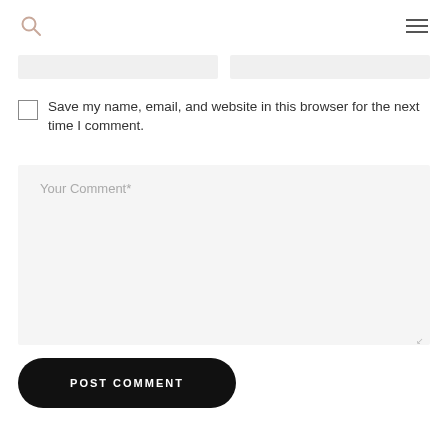Save my name, email, and website in this browser for the next time I comment.
Your Comment*
POST COMMENT